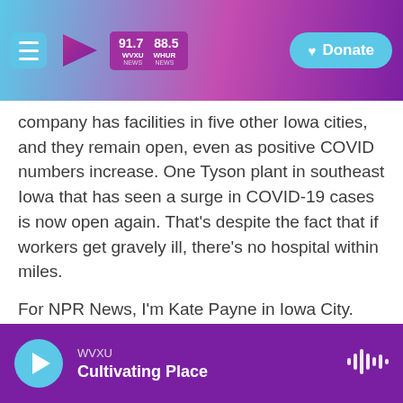WVXU 91.7 | WHUR 88.5 | Donate
company has facilities in five other Iowa cities, and they remain open, even as positive COVID numbers increase. One Tyson plant in southeast Iowa that has seen a surge in COVID-19 cases is now open again. That's despite the fact that if workers get gravely ill, there's no hospital within miles.
For NPR News, I'm Kate Payne in Iowa City.
(SOUNDBITE OF LCD SOUNDSYSTEM'S "AMERICAN DREAM") Transcript provided by NPR, Copyright NPR.
WVXU — Cultivating Place